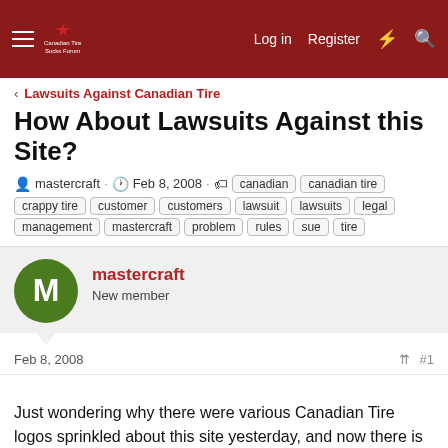Canadian Tire Sucks Forum — Log in  Register
< Lawsuits Against Canadian Tire
How About Lawsuits Against this Site?
mastercraft · Feb 8, 2008 · canadian  canadian tire  crappy tire  customer  customers  lawsuit  lawsuits  legal  management  mastercraft  problem  rules  sue  tire
mastercraft
New member
Feb 8, 2008  #1
Just wondering why there were various Canadian Tire logos sprinkled about this site yesterday, and now there is a logo of a "Canadian Tire".

Did a tersely-worded e-mail come through from Canadian Tire noting that free-speech, while wide-ranging (note exceptions in the forum rules) does not cover Trademarks, Logos or other